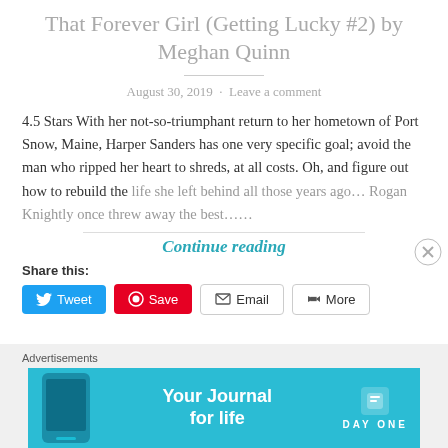That Forever Girl (Getting Lucky #2) by Meghan Quinn
August 30, 2019 · Leave a comment
4.5 Stars With her not-so-triumphant return to her hometown of Port Snow, Maine, Harper Sanders has one very specific goal; avoid the man who ripped her heart to shreds, at all costs. Oh, and figure out how to rebuild the life she left behind all those years ago… Rogan Knightly once threw away the best……
Continue reading
Share this:
[Figure (screenshot): Social share buttons: Tweet (Twitter/blue), Save (Pinterest/red), Email (outlined), More (outlined)]
[Figure (infographic): Advertisement banner: 'Your Journal for life' - Day One app ad with teal/cyan background and phone image]